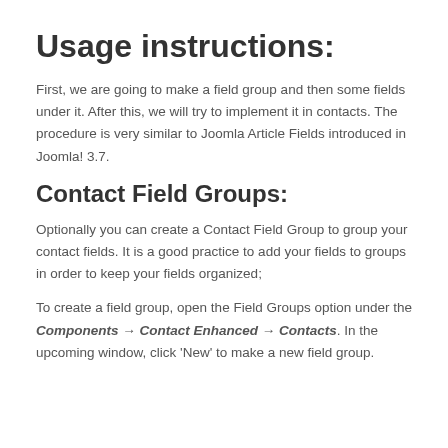Usage instructions:
First, we are going to make a field group and then some fields under it. After this, we will try to implement it in contacts. The procedure is very similar to Joomla Article Fields introduced in Joomla! 3.7.
Contact Field Groups:
Optionally you can create a Contact Field Group to group your contact fields. It is a good practice to add your fields to groups in order to keep your fields organized;
To create a field group, open the Field Groups option under the Components → Contact Enhanced → Contacts. In the upcoming window, click 'New' to make a new field group.